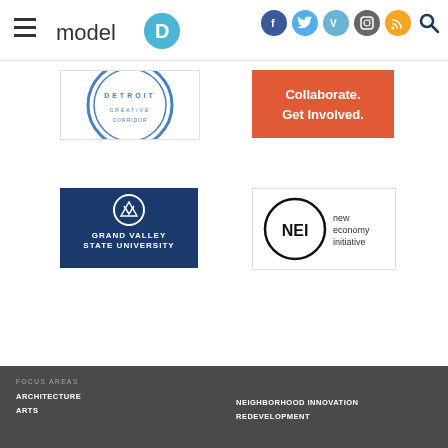[Figure (logo): Model D website header with hamburger menu, Model D logo, and social media icons (Facebook, Twitter, Vimeo, Instagram, RSS, Search)]
[Figure (logo): Detroit circular seal/badge logo sponsor box (partially visible)]
[Figure (logo): Red banner: 'Collaborate. Get Involved.' sponsor box (partially visible)]
[Figure (logo): Grand Valley State University logo on dark blue background]
[Figure (logo): NEI New Economy Initiative logo — circle with NEI text and 'new economy initiative' text]
FOCUS AREAS
ARCHITECTURE
ARTS
NEIGHBORHOOD INNOVATION
REDEVELOPMENT